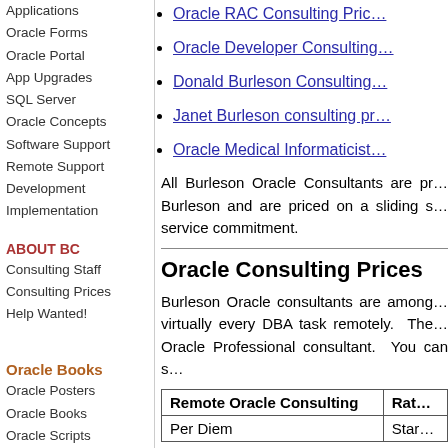Applications
Oracle Forms
Oracle Portal
App Upgrades
SQL Server
Oracle Concepts
Software Support
Remote Support
Development
Implementation
ABOUT BC
Consulting Staff
Consulting Prices
Help Wanted!
Oracle Books
Oracle Posters
Oracle Books
Oracle Scripts
Oracle RAC Consulting Prices
Oracle Developer Consulting
Donald Burleson Consulting
Janet Burleson consulting prices
Oracle Medical Informaticist
All Burleson Oracle Consultants are priced by Burleson and are priced on a sliding scale service commitment.
Oracle Consulting Prices
Burleson Oracle consultants are among virtually every DBA task remotely. The Oracle Professional consultant. You can
| Remote Oracle Consulting | Rate |
| --- | --- |
| Per Diem | Star |